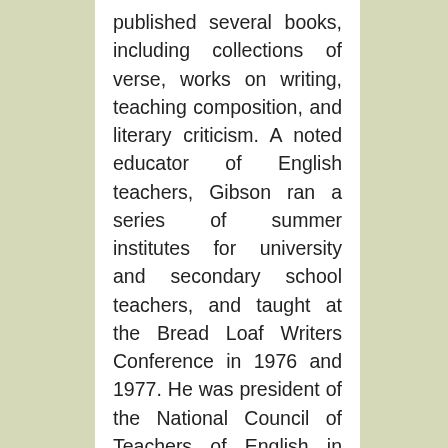published several books, including collections of verse, works on writing, teaching composition, and literary criticism. A noted educator of English teachers, Gibson ran a series of summer institutes for university and secondary school teachers, and taught at the Bread Loaf Writers Conference in 1976 and 1977. He was president of the National Council of Teachers of English in 1973, and a member of the Committee on Public Doublespeak from 1972-1990. Among other honors received during his career, Gibson was awarded a Guggenheim Fellowship in 1963-